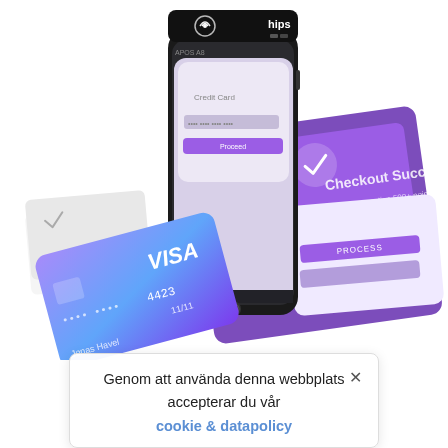[Figure (illustration): An isometric illustration showing a Hips APOS A8 payment terminal (black handheld POS device with NFC contactless symbol and 'hips' branding), alongside a smartphone showing app screens with purple UI (checkout success screen and payment processing screen), and a VISA credit card in purple-blue gradient with number 4423 and expiry 11/11, holder name 'Jonas Havel'. Various layered app screens visible in background.]
Genom att använda denna webbplats accepterar du vår cookie & datapolicy